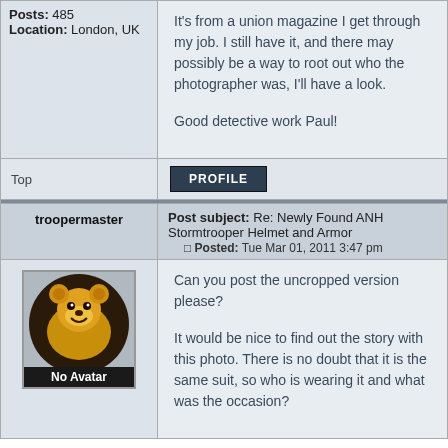Posts: 485
Location: London, UK
It's from a union magazine I get through my job. I still have it, and there may possibly be a way to root out who the photographer was, I'll have a look.

Good detective work Paul!
Top
PROFILE
troopermaster
Post subject: Re: Newly Found ANH Stormtrooper Helmet and Armor
Posted: Tue Mar 01, 2011 3:47 pm
[Figure (illustration): No Avatar placeholder image with a cartoon golden bear/character face on dark circular background with 'No Avatar' label at bottom]
Can you post the uncropped version please?

It would be nice to find out the story with this photo. There is no doubt that it is the same suit, so who is wearing it and what was the occasion?